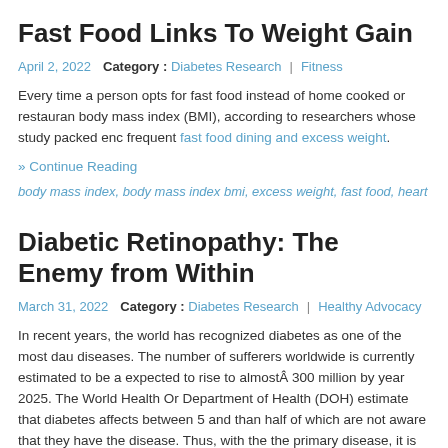Fast Food Links To Weight Gain
April 2, 2022   Category :  Diabetes Research  |  Fitness
Every time a person opts for fast food instead of home cooked or restaurant body mass index (BMI), according to researchers whose study packed enc frequent fast food dining and excess weight.
» Continue Reading
body mass index, body mass index bmi, excess weight, fast food, heart disease, o
Diabetic Retinopathy: The Enemy from Within
March 31, 2022   Category :  Diabetes Research  |  Healthy Advocacy
In recent years, the world has recognized diabetes as one of the most dau diseases. The number of sufferers worldwide is currently estimated to be a expected to rise to almost  300 million by year 2025. The World Health Or Department of Health (DOH) estimate that diabetes affects between 5 and than half of which are not aware that they have the disease. Thus, with the the primary disease, it is not surprising that knowledge about the complica is poor. » Continue Reading